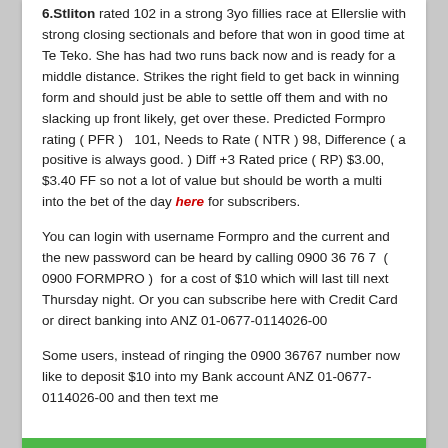6.Stliton rated 102 in a strong 3yo fillies race at Ellerslie with strong closing sectionals and before that won in good time at Te Teko. She has had two runs back now and is ready for a middle distance. Strikes the right field to get back in winning form and should just be able to settle off them and with no slacking up front likely, get over these. Predicted Formpro rating ( PFR )   101, Needs to Rate ( NTR ) 98, Difference ( a positive is always good. ) Diff +3 Rated price ( RP) $3.00, $3.40 FF so not a lot of value but should be worth a multi into the bet of the day here for subscribers.
You can login with username Formpro and the current and the new password can be heard by calling 0900 36 76 7  ( 0900 FORMPRO )  for a cost of $10 which will last till next Thursday night. Or you can subscribe here with Credit Card or direct banking into ANZ 01-0677-0114026-00
Some users, instead of ringing the 0900 36767 number now like to deposit $10 into my Bank account ANZ 01-0677-0114026-00 and then text me